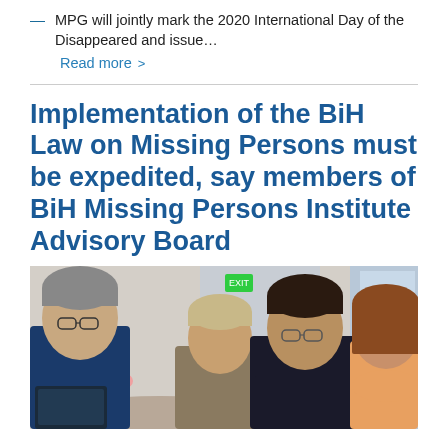MPG will jointly mark the 2020 International Day of the Disappeared and issue…
Read more >
Implementation of the BiH Law on Missing Persons must be expedited, say members of BiH Missing Persons Institute Advisory Board
[Figure (photo): Four people seated around a table in a meeting room. From left: a woman with glasses and short grey hair, a young man, an older man with glasses and dark hair leaning forward, and a woman with shoulder-length brown hair. There are flowers on the table and a window in the background.]